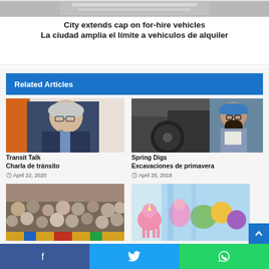[Figure (photo): Top partial image of vehicles/transit, cropped at top of page]
City extends cap on for-hire vehicles
La ciudad amplia el límite a vehiculos de alquiler
Related Articles
[Figure (photo): Elderly man in suit and glasses speaking at a microphone, orange background]
Transit Talk
Charla de tránsito
April 22, 2020
[Figure (photo): Young woman with hard hat and glasses holding a clipboard, industrial background]
Spring Digs
Excavaciones de primavera
April 25, 2018
[Figure (photo): Crowd of people at an event or meeting, partially visible]
[Figure (photo): Colorful mural with animals and figures, partially visible]
[Figure (other): Social sharing bar with Facebook, Twitter, WhatsApp buttons at bottom]